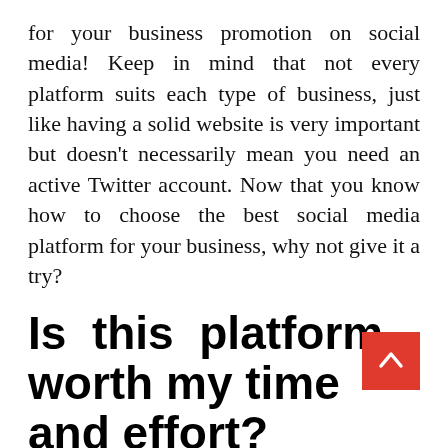for your business promotion on social media! Keep in mind that not every platform suits each type of business, just like having a solid website is very important but doesn't necessarily mean you need an active Twitter account. Now that you know how to choose the best social media platform for your business, why not give it a try?
Is this platform worth my time and effort?
This factor is closely related to the